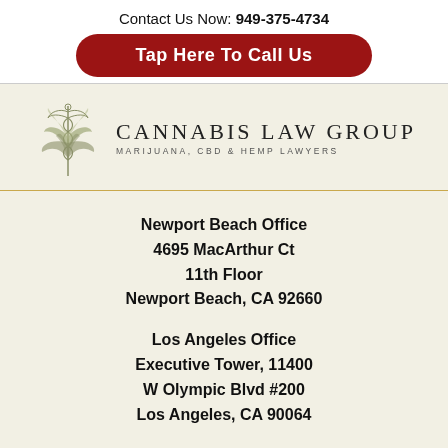Contact Us Now: 949-375-4734
Tap Here To Call Us
[Figure (logo): Cannabis Law Group logo with cannabis leaf and caduceus illustration, text reads CANNABIS LAW GROUP MARIJUANA, CBD & HEMP LAWYERS]
Newport Beach Office
4695 MacArthur Ct
11th Floor
Newport Beach, CA 92660
Los Angeles Office
Executive Tower, 11400
W Olympic Blvd #200
Los Angeles, CA 90064
Riverside Office
Tower, Riverside, 11001